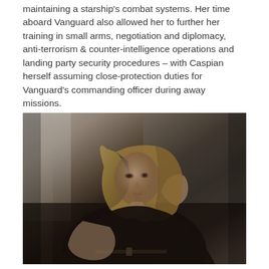maintaining a starship's combat systems. Her time aboard Vanguard also allowed her to further her training in small arms, negotiation and diplomacy, anti-terrorism & counter-intelligence operations and landing party security procedures – with Caspian herself assuming close-protection duties for Vanguard's commanding officer during away missions.
[Figure (photo): A young woman with long blonde hair resting her head on her hand, wearing dark clothing, seated in a dimly lit environment with a moody, cinematic look.]